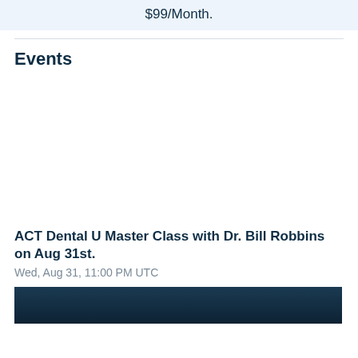$99/Month.
Events
[Figure (photo): Blank white placeholder area for an event image]
ACT Dental U Master Class with Dr. Bill Robbins on Aug 31st.
Wed, Aug 31, 11:00 PM UTC
[Figure (photo): Dark navy background image showing a person, partially visible at the bottom of the page]